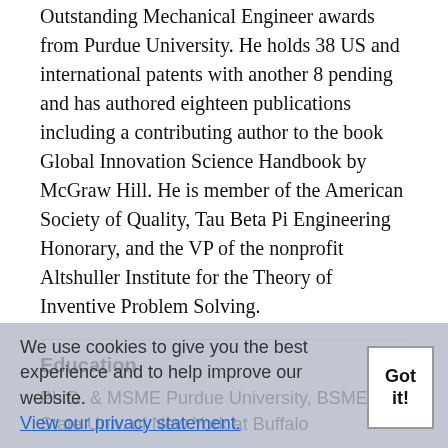Outstanding Mechanical Engineer awards from Purdue University. He holds 38 US and international patents with another 8 pending and has authored eighteen publications including a contributing author to the book Global Innovation Science Handbook by McGraw Hill. He is member of the American Society of Quality, Tau Beta Pi Engineering Honorary, and the VP of the nonprofit Altshuller Institute for the Theory of Inventive Problem Solving.
Education
Ph.D. & MSME Purdue University, BSME State Univ. of New York at Buffalo
Publications
Chapter 28 Global Innovation Science...